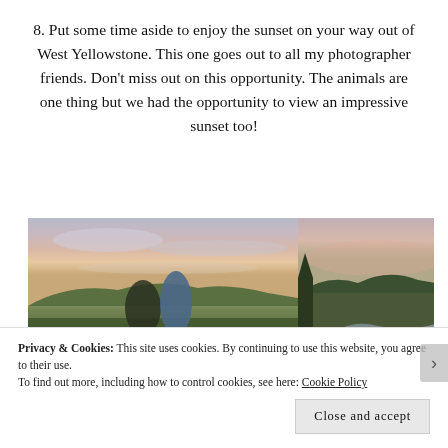8. Put some time aside to enjoy the sunset on your way out of West Yellowstone. This one goes out to all my photographer friends. Don't miss out on this opportunity. The animals are one thing but we had the opportunity to view an impressive sunset too!
[Figure (photo): Two side-by-side photos: left shows a couple posing in a field at sunset with hills in the background; right shows a river winding through a forested landscape at dusk.]
Privacy & Cookies: This site uses cookies. By continuing to use this website, you agree to their use.
To find out more, including how to control cookies, see here: Cookie Policy
Close and accept